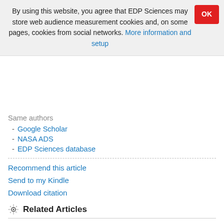By using this website, you agree that EDP Sciences may store web audience measurement cookies and, on some pages, cookies from social networks. More information and setup
Same authors
- Google Scholar
- NASA ADS
- EDP Sciences database
Recommend this article
Send to my Kindle
Download citation
Related Articles
Impact of vertical gas accretion on the carbon-to-oxygen ratio of gas giant atmospheres
A&A 635, A68 (2020)